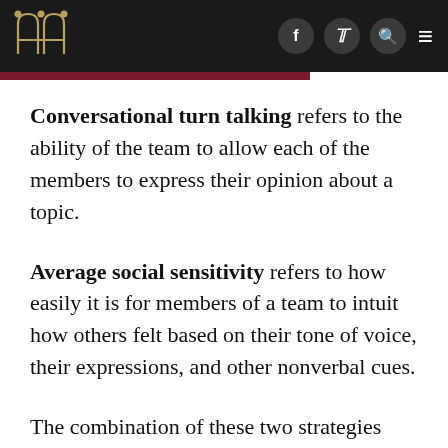Conversational turn talking refers to the ability of the team to allow each of the members to express their opinion about a topic.
Average social sensitivity refers to how easily it is for members of a team to intuit how others felt based on their tone of voice, their expressions, and other nonverbal cues.
The combination of these two strategies fosters what could be colloquially defined as